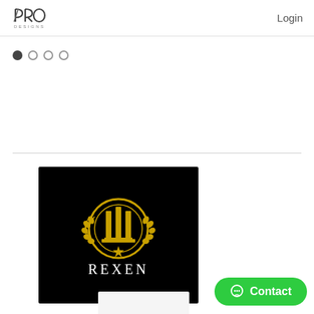[Figure (logo): PRO DESIGNS logo in top left header]
Login
[Figure (other): Carousel navigation dots: one filled dark circle followed by three empty circles]
[Figure (logo): REXEN logo on black background with golden circular emblem featuring a classical column and laurel wreath above the text REXEN]
[Figure (other): Green Contact button with speech bubble icon in bottom right corner]